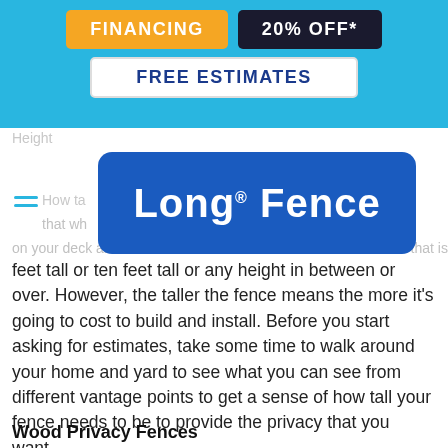[Figure (infographic): Website header banner with sky blue background containing two buttons: orange 'FINANCING' button and dark navy '20% OFF*' button, and a white 'FREE ESTIMATES' button below them.]
[Figure (logo): Long Fence logo: blue rounded rectangle with white bold text 'Long® Fence']
feet tall or ten feet tall or any height in between or over. However, the taller the fence means the more it's going to cost to build and install. Before you start asking for estimates, take some time to walk around your home and yard to see what you can see from different vantage points to get a sense of how tall your fence needs to be to provide the privacy that you want.
Wood Privacy Fences